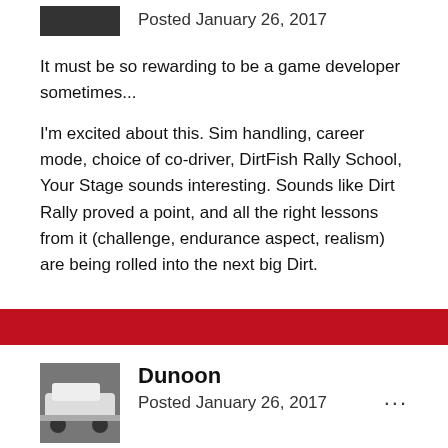Posted January 26, 2017
It must be so rewarding to be a game developer sometimes...
I'm excited about this. Sim handling, career mode, choice of co-driver, DirtFish Rally School, Your Stage sounds interesting. Sounds like Dirt Rally proved a point, and all the right lessons from it (challenge, endurance aspect, realism) are being rolled into the next big Dirt.
Dunoon
Posted January 26, 2017
Joyride= Steal someones rally car and race it against a Buggy across a wide expanse of Texas desert.
JackKey